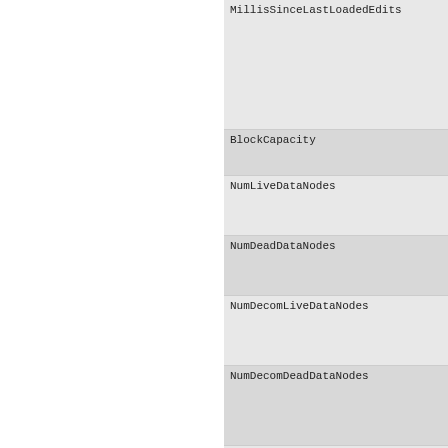MillisSinceLastLoadedEdits
BlockCapacity
NumLiveDataNodes
NumDeadDataNodes
NumDecomLiveDataNodes
NumDecomDeadDataNodes
NumDecommissioningDataNodes
VolumeFailuresTotal